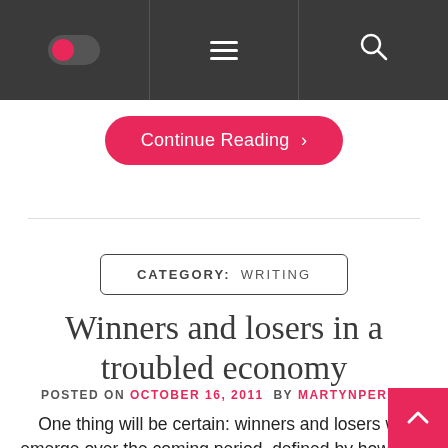[Navigation bar with toggle, hamburger menu, and search icon]
Continue Reading >
CATEGORY:  WRITING
Winners and losers in a troubled economy
POSTED ON OCTOBER 16, 2011  BY MARTYNPERKS
One thing will be certain: winners and losers will emerge over the coming period, defined by how they chose to